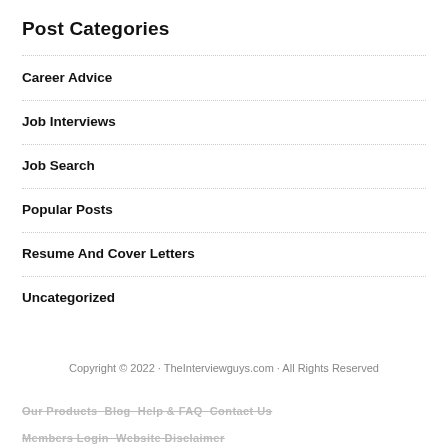Post Categories
Career Advice
Job Interviews
Job Search
Popular Posts
Resume And Cover Letters
Uncategorized
Copyright © 2022 · TheInterviewguys.com · All Rights Reserved
Our Products · Blog · Help & FAQ · Contact Us · Members Login · Website Disclaimer · Terms And Conditions · Privacy Policy